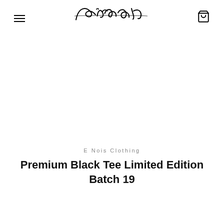enois [logo] — E Nois Clothing brand header with hamburger menu and cart icon
E Nois Clothing
Premium Black Tee Limited Edition Batch 19